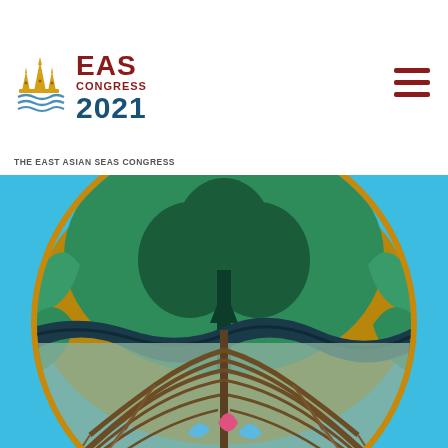[Figure (logo): EAS Congress 2021 logo with temple/crown icon and wave motif, text reads 'EAS CONGRESS 2021 THE EAST ASIAN SEAS CONGRESS']
[Figure (illustration): Circular illustration of a mangrove tree above water with visible root system below, rendered in teal, gold/brown, and dark tones on a sky-blue background. Partial PEMSEA-style logo visible at bottom center.]